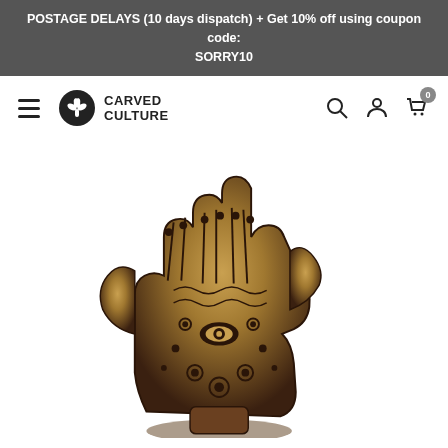POSTAGE DELAYS (10 days dispatch) + Get 10% off using coupon code: SORRY10
[Figure (logo): Carved Culture brand logo with a circular tree/leaf icon and text CARVED CULTURE]
[Figure (photo): A carved hamsa hand decoration in bronze/antique gold with intricate patterns and floral motifs, photographed on white background]